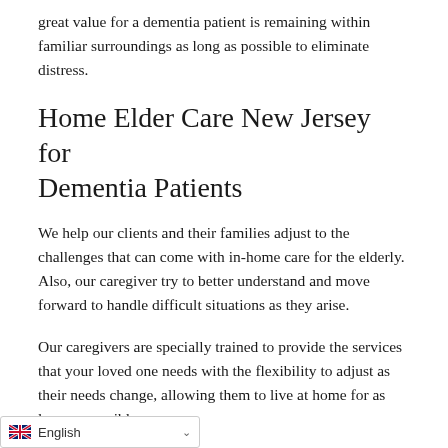great value for a dementia patient is remaining within familiar surroundings as long as possible to eliminate distress.
Home Elder Care New Jersey for Dementia Patients
We help our clients and their families adjust to the challenges that can come with in-home care for the elderly. Also, our caregiver try to better understand and move forward to handle difficult situations as they arise.
Our caregivers are specially trained to provide the services that your loved one needs with the flexibility to adjust as their needs change, allowing them to live at home for as long as possible